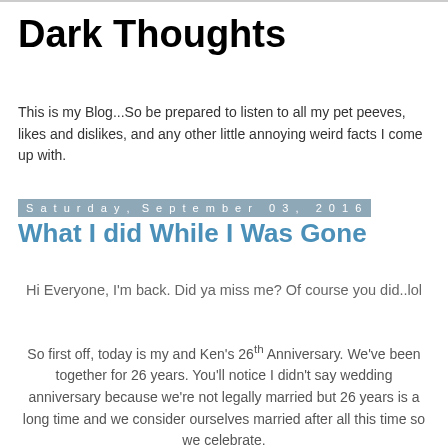Dark Thoughts
This is my Blog...So be prepared to listen to all my pet peeves, likes and dislikes, and any other little annoying weird facts I come up with.
Saturday, September 03, 2016
What I did While I Was Gone
Hi Everyone, I'm back. Did ya miss me? Of course you did..lol
So first off, today is my and Ken's 26th Anniversary. We've been together for 26 years. You'll notice I didn't say wedding anniversary because we're not legally married but 26 years is a long time and we consider ourselves married after all this time so we celebrate.